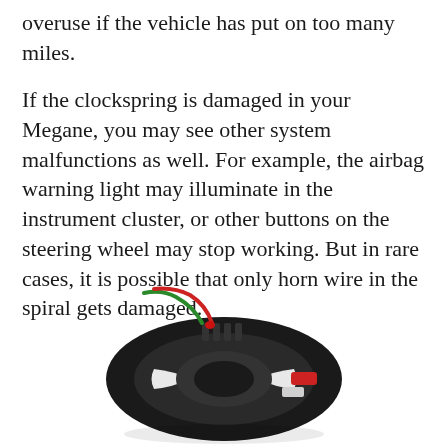overuse if the vehicle has put on too many miles.
If the clockspring is damaged in your Megane, you may see other system malfunctions as well. For example, the airbag warning light may illuminate in the instrument cluster, or other buttons on the steering wheel may stop working. But in rare cases, it is possible that only horn wire in the spiral gets damaged.
[Figure (photo): A clockspring / spiral cable component for a steering wheel, circular in shape with black outer casing, white inner rotor sections, and colored wires (red and green) extending from the top, and a small red connector on the right side.]